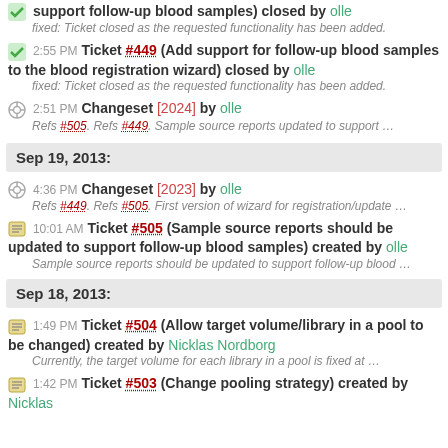support follow-up blood samples) closed by olle
fixed: Ticket closed as the requested functionality has been added.
2:55 PM Ticket #449 (Add support for follow-up blood samples to the blood registration wizard) closed by olle
fixed: Ticket closed as the requested functionality has been added.
2:51 PM Changeset [2024] by olle
Refs #505. Refs #449. Sample source reports updated to support ...
Sep 19, 2013:
4:36 PM Changeset [2023] by olle
Refs #449. Refs #505. First version of wizard for registration/update ...
10:01 AM Ticket #505 (Sample source reports should be updated to support follow-up blood samples) created by olle
Sample source reports should be updated to support follow-up blood ...
Sep 18, 2013:
1:49 PM Ticket #504 (Allow target volume/library in a pool to be changed) created by Nicklas Nordborg
Currently, the target volume for each library in a pool is fixed at ...
1:42 PM Ticket #503 (Change pooling strategy) created by Nicklas